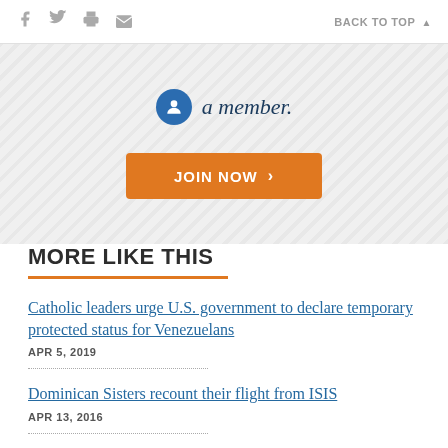f [twitter] [print] [email]   BACK TO TOP ▲
[Figure (other): Membership banner with circular icon, italic text 'a member.' and orange JOIN NOW button]
MORE LIKE THIS
Catholic leaders urge U.S. government to declare temporary protected status for Venezuelans
APR 5, 2019
Dominican Sisters recount their flight from ISIS
APR 13, 2016